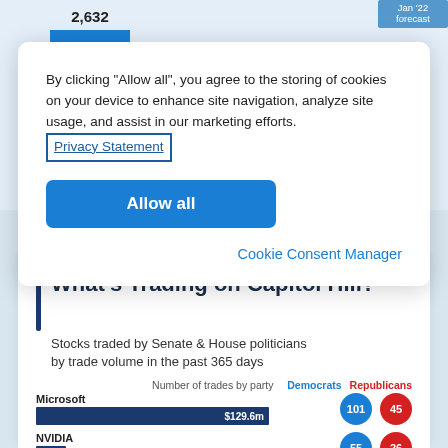[Figure (bar-chart): Partially visible bar chart showing economic data. One bar labeled 2,632 (blue), other bars visible, one labeled -2.5% growth (pink/rose), and a 'Jan '22 forecast' label in top right.]
By clicking "Allow all", you agree to the storing of cookies on your device to enhance site navigation, analyze site usage, and assist in our marketing efforts. Privacy Statement
Allow all
Cookie Consent Manager
What's Trading on Capitol Hill?
Stocks traded by Senate & House politicians by trade volume in the past 365 days
|  | Number of trades by party Democrats | Number of trades by party Republicans |
| --- | --- | --- |
| Microsoft $129.6m | 101 | 45 |
| NVIDIA $8.7m | 55 | 26 |